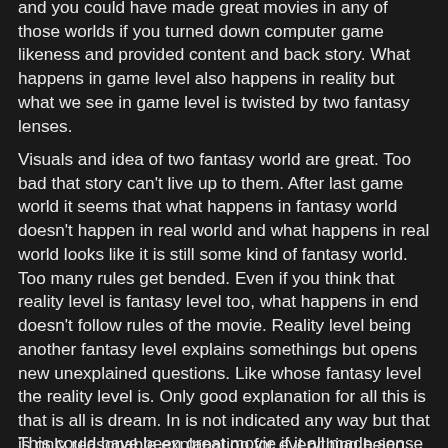and you could have made great movies in any of those worlds if you turned down computer game likeness and provided content and back story. What happens in game level also happens in reality but what we see in game level is twisted by two fantasy lenses.
Visuals and idea of two fantasy world are great. Too bad that story can't live up to them. After last game world it seems that what happens in fantasy world doesn't happen in real world and what happens in real world looks like it is still some kind of fantasy world. Too many rules get bended. Even if you think that reality level is fantasy level too, what happens in end doesn't follow rules of the movie. Reality level being another fantasy level explains somethings but opens new unexplained questions. Like whose fantasy level the reality level is. Only good explanation for all this is that is all is dream. In is not indicated any way but that is only reasonable explanation for everything being over the top and looking unreal. If we assume that reality level is real reality, the ending is too convenient for what else is happening in movie.
This could have been great movie if it all made sense in the